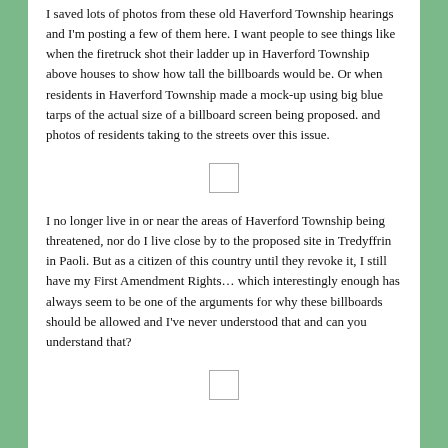I saved lots of photos from these old Haverford Township hearings and I'm posting a few of them here. I want people to see things like when the firetruck shot their ladder up in Haverford Township above houses to show how tall the billboards would be. Or when residents in Haverford Township made a mock-up using big blue tarps of the actual size of a billboard screen being proposed. and photos of residents taking to the streets over this issue.
[Figure (other): Small placeholder image box]
I no longer live in or near the areas of Haverford Township being threatened, nor do I live close by to the proposed site in Tredyffrin in Paoli. But as a citizen of this country until they revoke it, I still have my First Amendment Rights… which interestingly enough has always seem to be one of the arguments for why these billboards should be allowed and I've never understood that and can you understand that?
[Figure (other): Small placeholder image box]